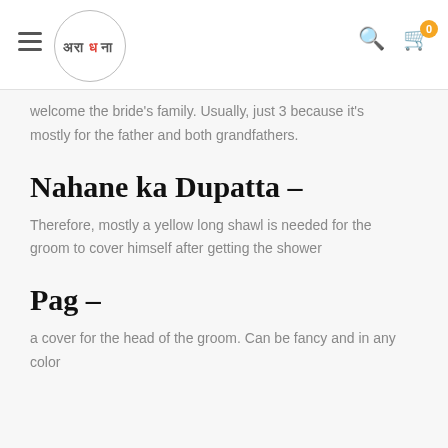Aradhna logo and navigation header
welcome the bride's family. Usually, just 3 because it's mostly for the father and both grandfathers.
Nahane ka Dupatta –
Therefore, mostly a yellow long shawl is needed for the groom to cover himself after getting the shower
Pag –
a cover for the head of the groom. Can be fancy and in any color